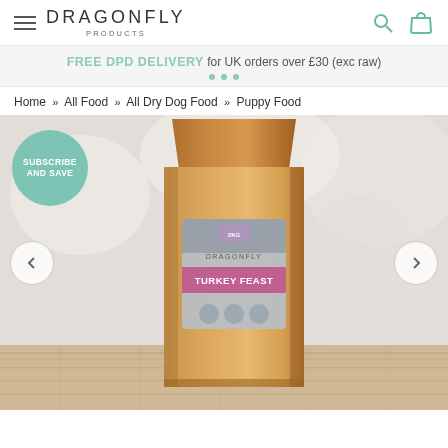DRAGONFLY PRODUCTS
FREE DPD DELIVERY for UK orders over £30 (exc raw)
Home » All Food » All Dry Dog Food » Puppy Food
[Figure (photo): Brown kraft paper bag of Dragonfly Products Turkey Feast dry dog food, shown with a label displaying the product name in purple on a grey background, placed on a wooden surface with blurred kitchen background. A teal circular badge reads SUBSCRIBE AND SAVE. Left and right navigation arrows visible.]